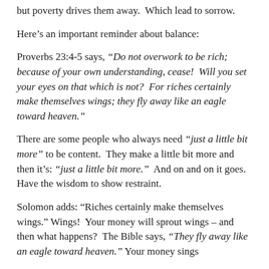but poverty drives them away.  Which lead to sorrow.
Here’s an important reminder about balance:
Proverbs 23:4-5 says, “Do not overwork to be rich; because of your own understanding, cease!  Will you set your eyes on that which is not?  For riches certainly make themselves wings; they fly away like an eagle toward heaven.”
There are some people who always need “just a little bit more” to be content.  They make a little bit more and then it’s: “just a little bit more.”  And on and on it goes.  Have the wisdom to show restraint.
Solomon adds: “Riches certainly make themselves wings.” Wings!  Your money will sprout wings – and then what happens?  The Bible says, “They fly away like an eagle toward heaven.” Your money sings